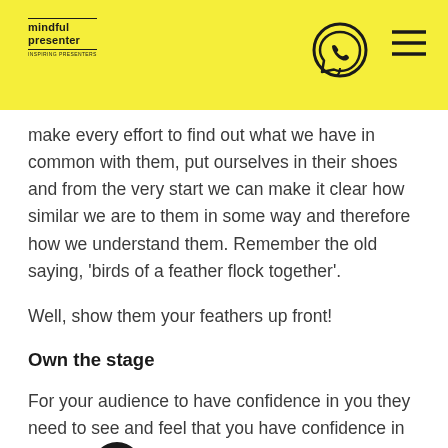mindful presenter
make every effort to find out what we have in common with them, put ourselves in their shoes and from the very start we can make it clear how similar we are to them in some way and therefore how we understand them. Remember the old saying, 'birds of a feather flock together'.
Well, show them your feathers up front!
Own the stage
For your audience to have confidence in you they need to see and feel that you have confidence in yourself from the very start, before you even open your mouth. This means calmly and confidently walking to the front of the stage or conference room, your body filled with